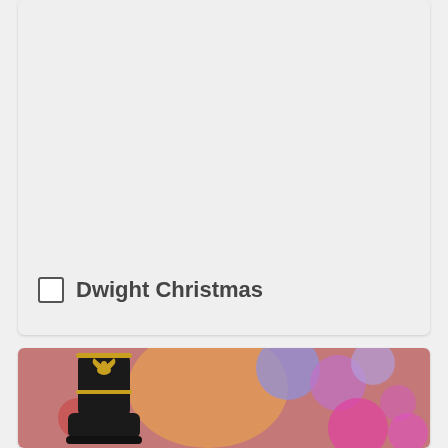[Figure (photo): Gray/white card area, mostly empty background with a checkbox and label at the bottom]
Dwight Christmas
[Figure (photo): Photo of a black leather boot with gold eagle emblem and gold trim, set against colorful bokeh circles in pink, purple, orange and red]